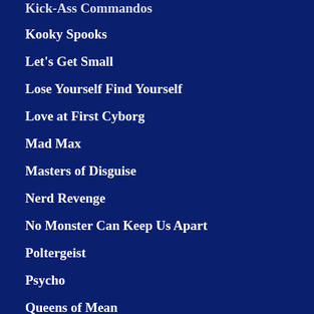Kick-Ass Commandos
Kooky Spooks
Let's Get Small
Lose Yourself Find Yourself
Love at First Cyborg
Mad Max
Masters of Disguise
Nerd Revenge
No Monster Can Keep Us Apart
Poltergeist
Psycho
Queens of Mean
Rambo
Rap Attack